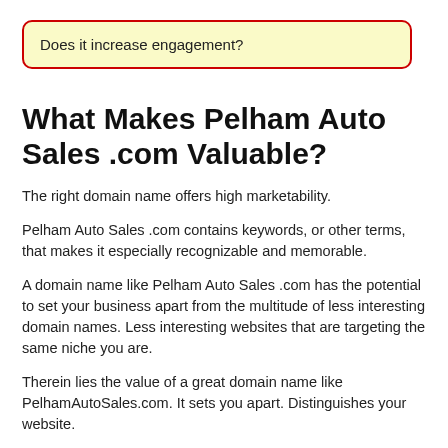Does it increase engagement?
What Makes Pelham Auto Sales .com Valuable?
The right domain name offers high marketability.
Pelham Auto Sales .com contains keywords, or other terms, that makes it especially recognizable and memorable.
A domain name like Pelham Auto Sales .com has the potential to set your business apart from the multitude of less interesting domain names. Less interesting websites that are targeting the same niche you are.
Therein lies the value of a great domain name like PelhamAutoSales.com. It sets you apart. Distinguishes your website.